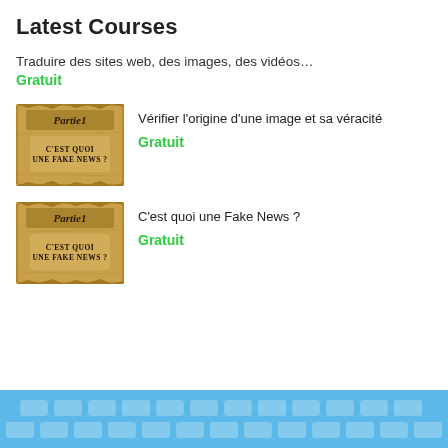Latest Courses
Traduire des sites web, des images, des vidéos…
Gratuit
[Figure (photo): Parchment scroll thumbnail with text 'C'EST QUOI UNE FAKE NEWS?' and 'Partie1' header]
Vérifier l'origine d'une image et sa véracité
Gratuit
[Figure (photo): Parchment scroll thumbnail with text 'C'EST QUOI UNE FAKE NEWS?' and 'Partie1' header]
C'est quoi une Fake News ?
Gratuit
[Figure (illustration): Blue keyboard/technology banner at bottom of page]